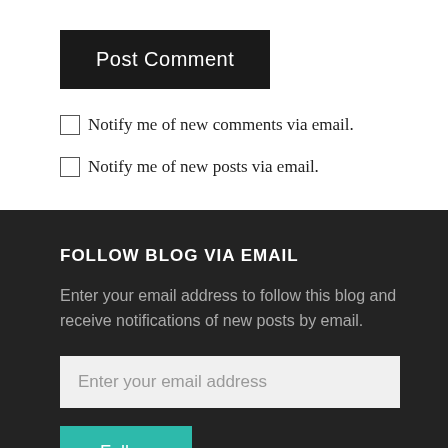Post Comment
Notify me of new comments via email.
Notify me of new posts via email.
FOLLOW BLOG VIA EMAIL
Enter your email address to follow this blog and receive notifications of new posts by email.
Enter your email address
Follow